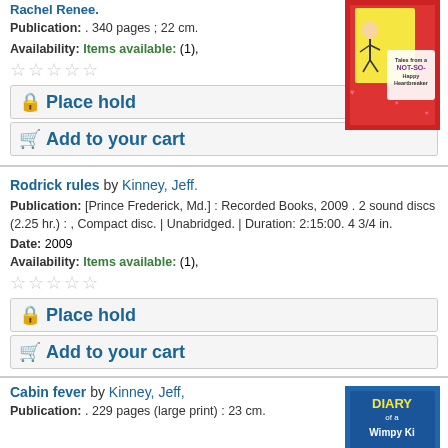Rachel Renee.
Publication: . 340 pages ; 22 cm.
Availability: Items available: (1),
[Figure (illustration): Book cover: Tales from a NOT-SO-Happy Heartbreaker, red cover with cartoon girls]
Place hold
Add to your cart
Rodrick rules by Kinney, Jeff.
Publication: [Prince Frederick, Md.] : Recorded Books, 2009 . 2 sound discs (2.25 hr.) : , Compact disc. | Unabridged. | Duration: 2:15:00. 4 3/4 in.
Date: 2009
Availability: Items available: (1),
Place hold
Add to your cart
Cabin fever by Kinney, Jeff,
Publication: . 229 pages (large print) : 23 cm.
[Figure (illustration): Book cover: Diary of a Wimpy Kid, Cabin Fever]